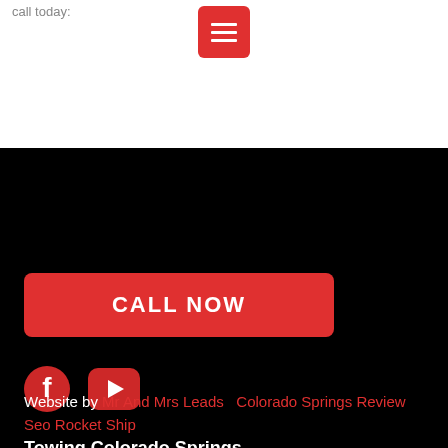call today:
[Figure (other): Red menu/hamburger icon button with three white horizontal lines]
[Figure (other): Red CALL NOW button]
[Figure (other): Facebook and YouTube social media icons in red/dark circles]
Towing Colorado Springs
719-419-9013
2625 East Boulder Street
Colorado Springs, Co 80918
Website by Mr And Mrs Leads  Colorado Springs Review  Seo Rocket Ship